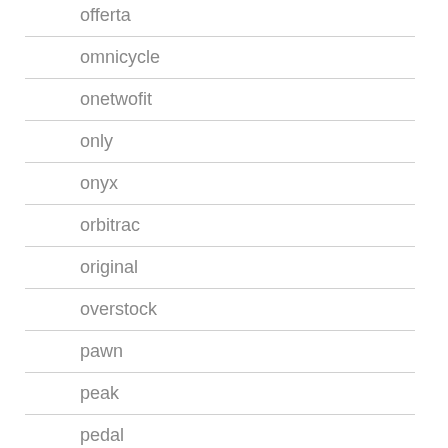offerta
omnicycle
onetwofit
only
onyx
orbitrac
original
overstock
pawn
peak
pedal
pelaton